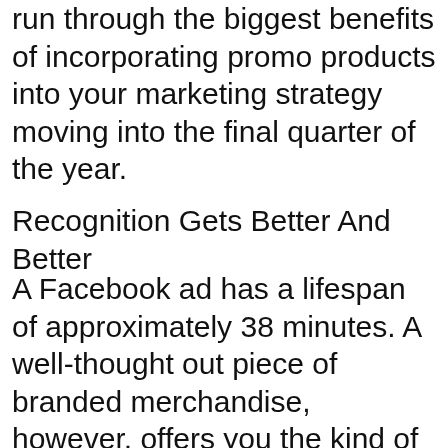run through the biggest benefits of incorporating promo products into your marketing strategy moving into the final quarter of the year.
Recognition Gets Better And Better
A Facebook ad has a lifespan of approximately 38 minutes. A well-thought out piece of branded merchandise, however, offers you the kind of longevity that you could only dream of, with 49% of